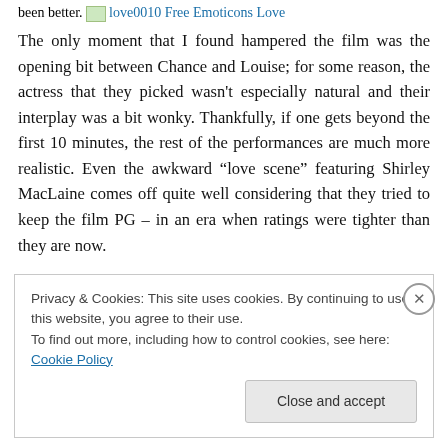been better. love0010 Free Emoticons Love
The only moment that I found hampered the film was the opening bit between Chance and Louise; for some reason, the actress that they picked wasn't especially natural and their interplay was a bit wonky. Thankfully, if one gets beyond the first 10 minutes, the rest of the performances are much more realistic. Even the awkward “love scene” featuring Shirley MacLaine comes off quite well considering that they tried to keep the film PG – in an era when ratings were tighter than they are now.
Privacy & Cookies: This site uses cookies. By continuing to use this website, you agree to their use.
To find out more, including how to control cookies, see here: Cookie Policy
Close and accept